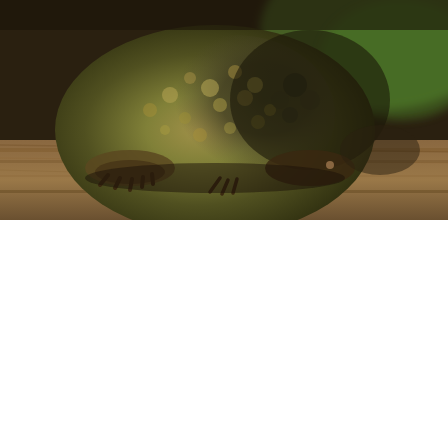[Figure (photo): Close-up photo of a toad sitting on a wooden surface, viewed from above at a slight angle. The toad has a bumpy, warty skin in mottled brown, olive, and dark gray coloring. Green foliage is visible blurred in the background.]
How to Attract TOADS to the garden
7 EASY STEPS TO MAKE EGGSHELL SEED STARTERS